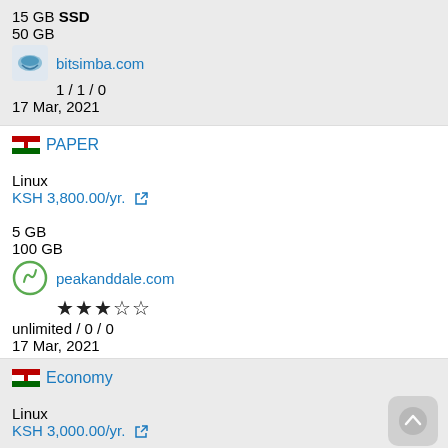15 GB SSD
50 GB
bitsimba.com
1 / 1 / 0
17 Mar, 2021
PAPER
Linux
KSH 3,800.00/yr.
5 GB
100 GB
peakanddale.com
★★★☆☆
unlimited / 0 / 0
17 Mar, 2021
Economy
Linux
KSH 3,000.00/yr.